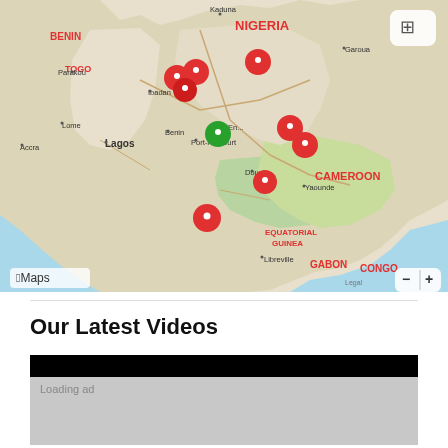[Figure (map): Apple Maps screenshot showing West/Central Africa region with multiple red map pins and one green map pin. Countries labeled include BENIN, TOGO, NIGERIA, CAMEROON, EQUATORIAL GUINEA, GABON, CONGO. Cities labeled include Parakou, Kaduna, Garoua, Ibadan, Lagos, Lome, Accra, Benin, Port-Harcourt, Enugu, Douala, Yaounde, Libreville. Multiple red location pins clustered around southern Nigeria/Lagos area, Cameroon border region, and Douala. One green pin near Port-Harcourt/Niger Delta area. One red pin in ocean south of Lagos. Apple Maps branding and zoom controls visible.]
Our Latest Videos
[Figure (screenshot): Video player placeholder with black bar at top and grey loading area showing 'Loading ad' text.]